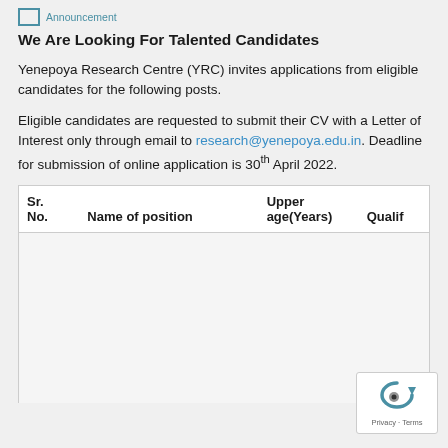Announcement
We Are Looking For Talented Candidates
Yenepoya Research Centre (YRC) invites applications from eligible candidates for the following posts.
Eligible candidates are requested to submit their CV with a Letter of Interest only through email to research@yenepoya.edu.in. Deadline for submission of online application is 30th April 2022.
| Sr. No. | Name of position | Upper age(Years) | Qualif |
| --- | --- | --- | --- |